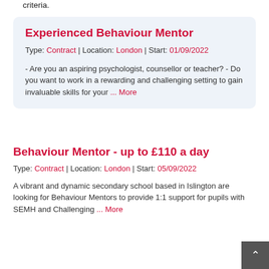criteria.
Experienced Behaviour Mentor
Type: Contract | Location: London | Start: 01/09/2022
- Are you an aspiring psychologist, counsellor or teacher? - Do you want to work in a rewarding and challenging setting to gain invaluable skills for your ... More
Behaviour Mentor - up to £110 a day
Type: Contract | Location: London | Start: 05/09/2022
A vibrant and dynamic secondary school based in Islington are looking for Behaviour Mentors to provide 1:1 support for pupils with SEMH and Challenging ... More